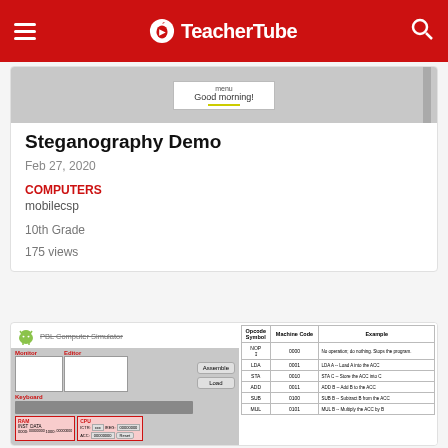TeacherTube
[Figure (screenshot): Screenshot preview showing 'Good morning!' message with menu overlay]
Steganography Demo
Feb 27, 2020
COMPUTERS
mobilecsp
10th Grade
175 views
[Figure (screenshot): PBL Computer Simulator interface with RAM/CPU panels and opcode reference table showing NOP, LDA, STA, ADD, SUB, MUL opcodes]
| Opcode Symbol | Machine Code | Example |
| --- | --- | --- |
| NOP | 0000 | No operation; do nothing. Stops the program. |
| LDA | 0001 | LDA A -- Load A into the ACC |
| STA | 0010 | STA C -- Store the ACC into C |
| ADD | 0011 | ADD B -- Add B to the ACC |
| SUB | 0100 | SUB B -- Subtract B from the ACC |
| MUL | 0101 | MUL B -- Multiply the ACC by B |